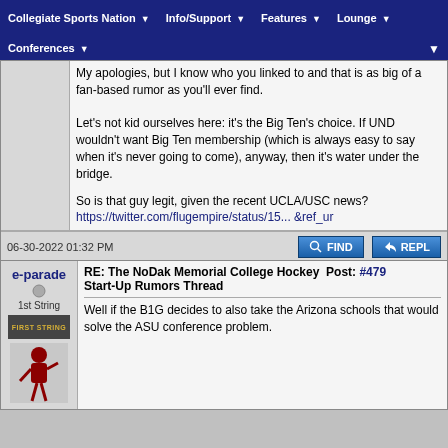Collegiate Sports Nation | Info/Support | Features | Lounge | Conferences
My apologies, but I know who you linked to and that is as big of a fan-based rumor as you'll ever find.

Let's not kid ourselves here: it's the Big Ten's choice. If UND wouldn't want Big Ten membership (which is always easy to say when it's never going to come), anyway, then it's water under the bridge.
So is that guy legit, given the recent UCLA/USC news?
https://twitter.com/flugempire/status/15...  &ref_ur
06-30-2022 01:32 PM
RE: The NoDak Memorial College Hockey  Post: #479
Start-Up Rumors Thread
e-parade
1st String
Well if the B1G decides to also take the Arizona schools that would solve the ASU conference problem.